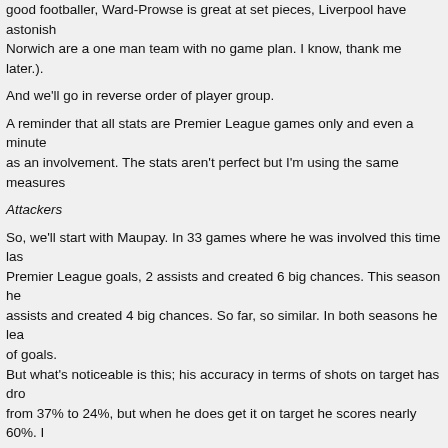good footballer, Ward-Prowse is great at set pieces, Liverpool have astonishing Norwich are a one man team with no game plan. I know, thank me later.).
And we'll go in reverse order of player group.
A reminder that all stats are Premier League games only and even a minute as an involvement. The stats aren't perfect but I'm using the same measures
Attackers
So, we'll start with Maupay. In 33 games where he was involved this time las Premier League goals, 2 assists and created 6 big chances. This season he assists and created 4 big chances. So far, so similar. In both seasons he lea of goals.
But what's noticeable is this; his accuracy in terms of shots on target has dro from 37% to 24%, but when he does get it on target he scores nearly 60%. I season about how he needs instinctive chances rather than thinking about it suggest something else – that he's aiming for the corners. Think about the g Southampton away where he shaves the inside of the post with half the goal penalties placed wide rather than straight at the keeper. The lovely finish at l exception, a great dink but that failed when he tried to repeat it at Spurs in th coached, a decision he's made or his natural game?
Welbeck is Mr Consistency. He has one goal fewer but better shot accuracy and his overall contribution is very similar.